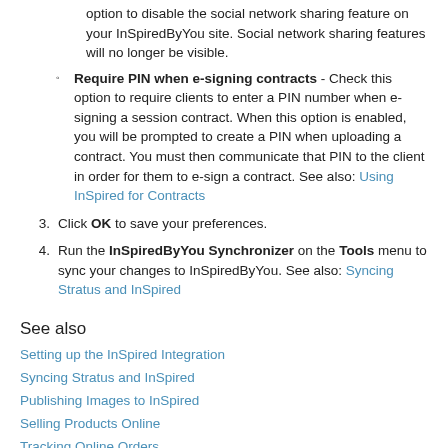option to disable the social network sharing feature on your InSpiredByYou site. Social network sharing features will no longer be visible.
Require PIN when e-signing contracts - Check this option to require clients to enter a PIN number when e-signing a session contract. When this option is enabled, you will be prompted to create a PIN when uploading a contract. You must then communicate that PIN to the client in order for them to e-sign a contract. See also: Using InSpired for Contracts
3. Click OK to save your preferences.
4. Run the InSpiredByYou Synchronizer on the Tools menu to sync your changes to InSpiredByYou. See also: Syncing Stratus and InSpired
See also
Setting up the InSpired Integration
Syncing Stratus and InSpired
Publishing Images to InSpired
Selling Products Online
Tracking Online Orders
Offering an Online Promotion
Uploading Prepaid Orders to InSpired
Processing Credit Cards through InSpired
Uploading an Animoto Video to InSpired